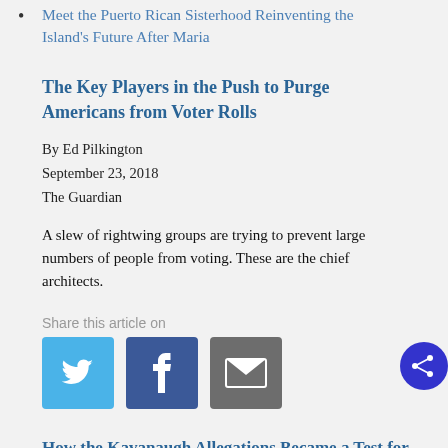Meet the Puerto Rican Sisterhood Reinventing the Island's Future After Maria
The Key Players in the Push to Purge Americans from Voter Rolls
By Ed Pilkington
September 23, 2018
The Guardian
A slew of rightwing groups are trying to prevent large numbers of people from voting. These are the chief architects.
Share this article on
[Figure (infographic): Social share buttons: Twitter (blue), Facebook (dark blue), Email (grey), and a circular share button (indigo)]
How the Kavanaugh Allegations Became a Test for #MeToo